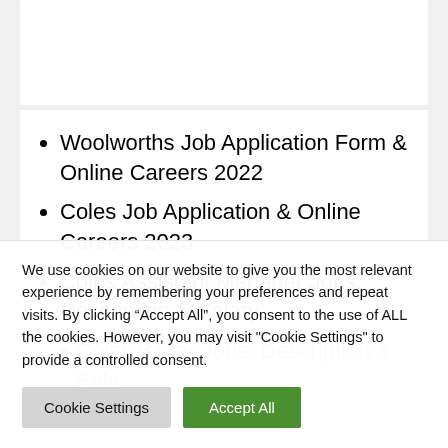Woolworths Job Application Form & Online Careers 2022
Coles Job Application & Online Careers 2023
Coles Assistant Manager Jobs: Description & Salary
We use cookies on our website to give you the most relevant experience by remembering your preferences and repeat visits. By clicking “Accept All”, you consent to the use of ALL the cookies. However, you may visit "Cookie Settings" to provide a controlled consent.